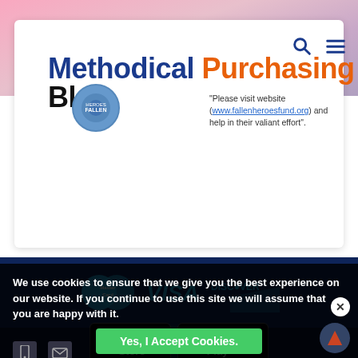Methodical Purchasing Blog
"Please visit website (www.fallenheroesfund.org) and help in their valiant effort".
[Figure (logo): Payment logos: MasterCard, VISA, DISCOVER]
[Figure (infographic): App store download buttons: Download on the App Store, GET IT ON Google Play]
[Figure (infographic): Social media icons: Facebook, Twitter, YouTube, Pinterest, and another icon]
We use cookies to ensure that we give you the best experience on our website. If you continue to use this site we will assume that you are happy with it.
Yes, I Accept Cookies.